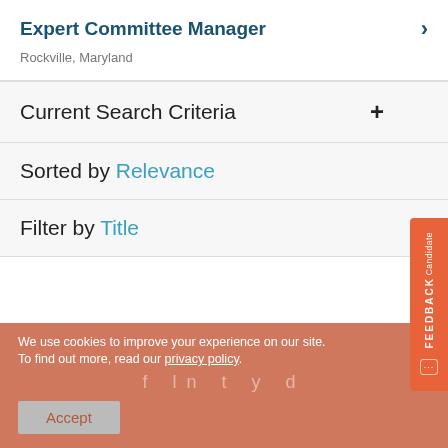Expert Committee Manager
Rockville, Maryland
Current Search Criteria
Sorted by Relevance
Filter by Title
We use cookies to improve your experience on our site. To find out more, read our privacy policy.
Accept